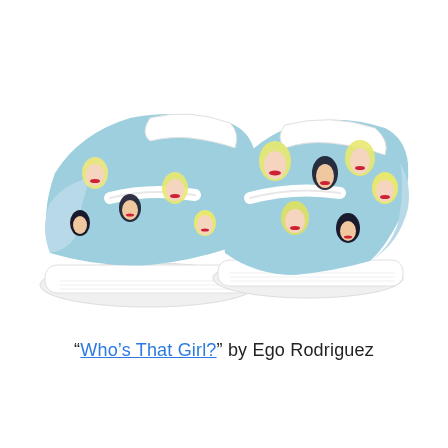[Figure (photo): A pair of slip-on sneakers with a light blue canvas upper printed with a repeating pop-art pattern of illustrated female faces with blonde and black hair and red lips. The shoes have white rubber soles and white ankle trim.]
“Who’s That Girl?” by Ego Rodriguez